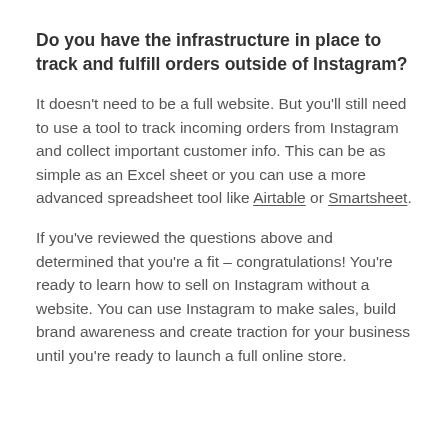Do you have the infrastructure in place to track and fulfill orders outside of Instagram?
It doesn't need to be a full website. But you'll still need to use a tool to track incoming orders from Instagram and collect important customer info. This can be as simple as an Excel sheet or you can use a more advanced spreadsheet tool like Airtable or Smartsheet.
If you've reviewed the questions above and determined that you're a fit – congratulations! You're ready to learn how to sell on Instagram without a website. You can use Instagram to make sales, build brand awareness and create traction for your business until you're ready to launch a full online store.